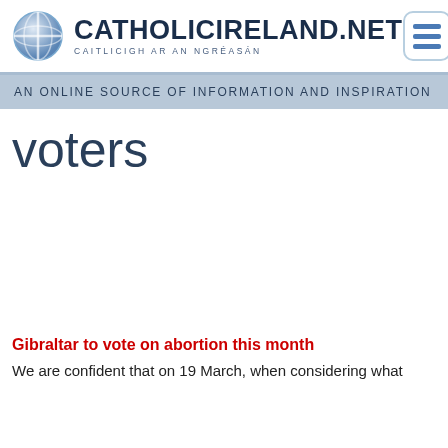CATHOLICIRELAND.NET — CAITLICIGH AR AN NGRÉASÁN
AN ONLINE SOURCE OF INFORMATION AND INSPIRATION
voters
Gibraltar to vote on abortion this month
We are confident that on 19 March, when considering what